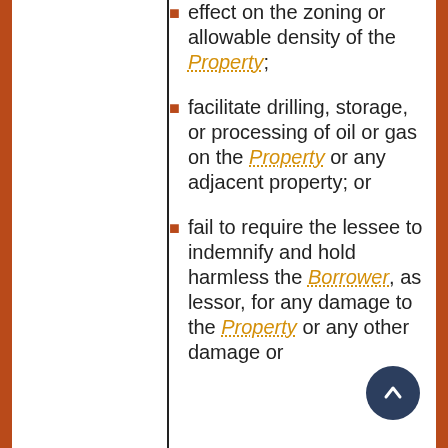effect on the zoning or allowable density of the Property;
facilitate drilling, storage, or processing of oil or gas on the Property or any adjacent property; or
fail to require the lessee to indemnify and hold harmless the Borrower, as lessor, for any damage to the Property or any other damage or